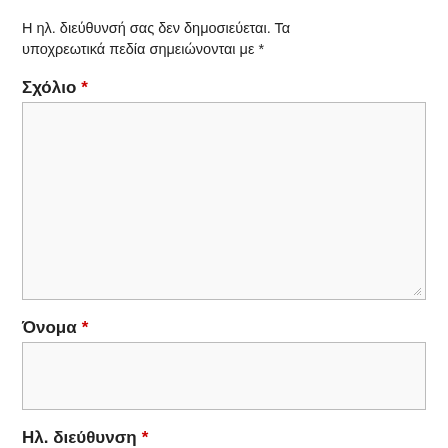Η ηλ. διεύθυνσή σας δεν δημοσιεύεται. Τα υποχρεωτικά πεδία σημειώνονται με *
Σχόλιο *
[Figure (other): Large empty textarea input box with resize handle]
Όνομα *
[Figure (other): Small empty text input box]
Ηλ. διεύθυνση *